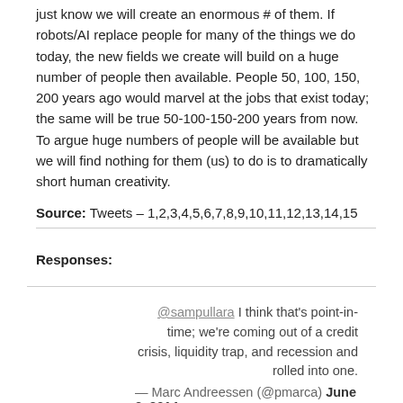just know we will create an enormous # of them. If robots/AI replace people for many of the things we do today, the new fields we create will build on a huge number of people then available. People 50, 100, 150, 200 years ago would marvel at the jobs that exist today; the same will be true 50-100-150-200 years from now. To argue huge numbers of people will be available but we will find nothing for them (us) to do is to dramatically short human creativity.
Source: Tweets – 1,2,3,4,5,6,7,8,9,10,11,12,13,14,15
Responses:
@sampullara I think that's point-in-time; we're coming out of a credit crisis, liquidity trap, and recession and rolled into one. — Marc Andreessen (@pmarca) June 3, 2014